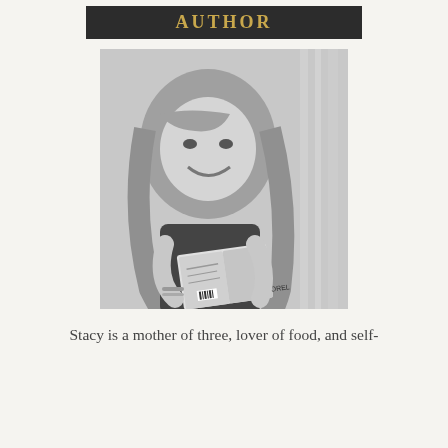AUTHOR
[Figure (photo): Black and white photo of a smiling woman with long wavy hair, reading a book. The book cover shows 'CY BOREL' on the spine. She is wearing a dark sleeveless top and bracelets.]
Stacy is a mother of three, lover of food, and self-